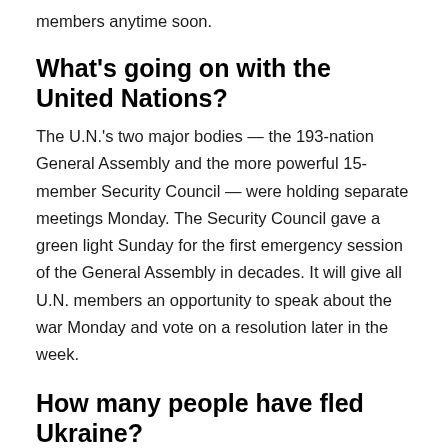members anytime soon.
What's going on with the United Nations?
The U.N.'s two major bodies — the 193-nation General Assembly and the more powerful 15-member Security Council — were holding separate meetings Monday. The Security Council gave a green light Sunday for the first emergency session of the General Assembly in decades. It will give all U.N. members an opportunity to speak about the war Monday and vote on a resolution later in the week.
How many people have fled Ukraine?
Filmore Consilth the United Nations High Commenda...